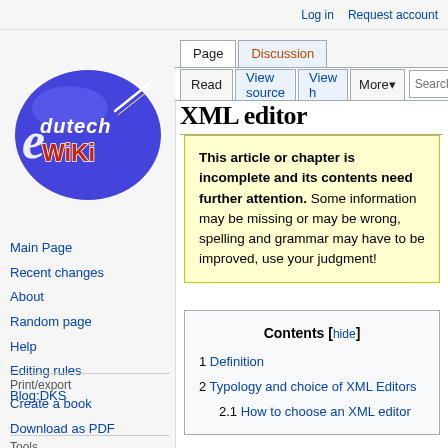Log in  Request account
[Figure (logo): EduTech Wiki logo — blue oval with 'edutech' and 'WIKI' text in stylized font]
Main Page
Recent changes
About
Random page
Help
Editing rules
Blog:DKS
Print/export
Create a book
Download as PDF
Printable version
Tools
XML editor
This article or chapter is incomplete and its contents need further attention. Some information may be missing or may be wrong, spelling and grammar may have to be improved, use your judgment!
Contents [hide]
1 Definition
2 Typology and choice of XML Editors
2.1 How to choose an XML editor